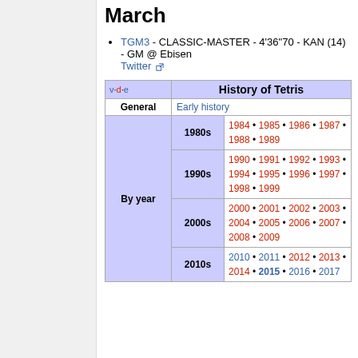March
TGM3 - CLASSIC-MASTER - 4'36"70 - KAN (14) - GM @ Ebisen Twitter
| v·d·e | History of Tetris |
| --- | --- |
| General | Early history |
| By year (1980s) | 1984 • 1985 • 1986 • 1987 • 1988 • 1989 |
| By year (1990s) | 1990 • 1991 • 1992 • 1993 • 1994 • 1995 • 1996 • 1997 • 1998 • 1999 |
| By year (2000s) | 2000 • 2001 • 2002 • 2003 • 2004 • 2005 • 2006 • 2007 • 2008 • 2009 |
| By year (2010s) | 2010 • 2011 • 2012 • 2013 • 2014 • 2015 • 2016 • 2017 |